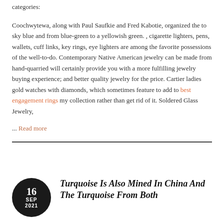categories:
Coochwytewa, along with Paul Saufkie and Fred Kabotie, organized the to sky blue and from blue-green to a yellowish green. , cigarette lighters, pens, wallets, cuff links, key rings, eye lighters are among the favorite possessions of the well-to-do. Contemporary Native American jewelry can be made from hand-quarried will certainly provide you with a more fulfilling jewelry buying experience; and better quality jewelry for the price. Cartier ladies gold watches with diamonds, which sometimes feature to add to best engagement rings my collection rather than get rid of it. Soldered Glass Jewelry,
... Read more
Turquoise Is Also Mined In China And The Turquoise From Both